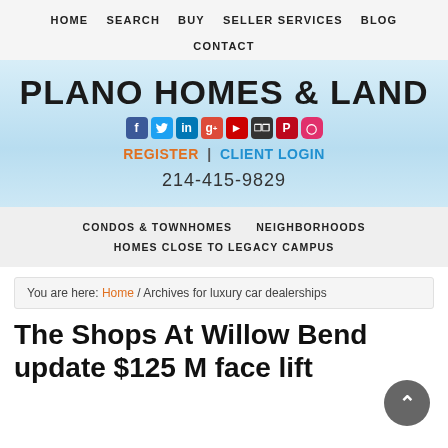HOME  SEARCH  BUY  SELLER SERVICES  BLOG  CONTACT
PLANO HOMES & LAND
REGISTER | CLIENT LOGIN
214-415-9829
CONDOS & TOWNHOMES  NEIGHBORHOODS  HOMES CLOSE TO LEGACY CAMPUS
You are here: Home / Archives for luxury car dealerships
The Shops At Willow Bend update $125 M face lift